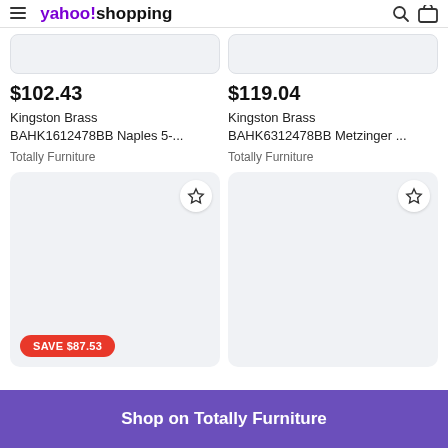yahoo! shopping
$102.43
Kingston Brass BAHK1612478BB Naples 5-...
Totally Furniture
$119.04
Kingston Brass BAHK6312478BB Metzinger ...
Totally Furniture
[Figure (other): Product image placeholder card with star/bookmark icon, showing SAVE $87.53 badge at bottom left]
[Figure (other): Product image placeholder card with star/bookmark icon]
Shop on Totally Furniture